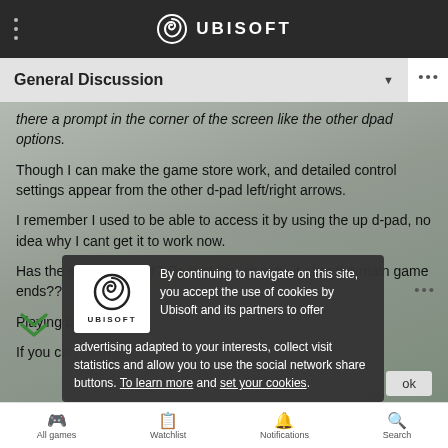UBISOFT
General Discussion
there a prompt in the corner of the screen like the other dpad options.
Though I can make the game store work, and detailed control settings appear from the other d-pad left/right arrows.
I remember I used to be able to access it by using the up d-pad, no idea why I cant get it to work now.
Has the setting moved? Or cant you change it after the main game ends??
Playing on ps5.
If you can change it...
By continuing to navigate on this site, you accept the use of cookies by Ubisoft and its partners to offer advertising adapted to your interests, collect visit statistics and allow you to use the social network share buttons. To learn more and set your cookies.
All games   Watchlist   Notifications   Search